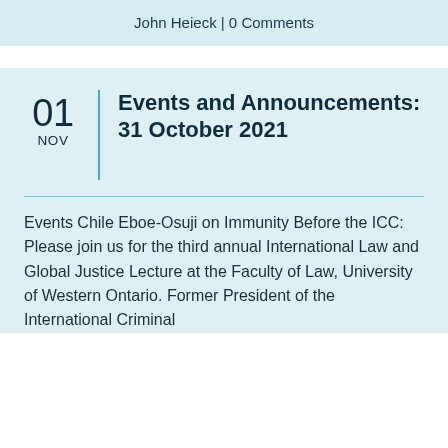John Heieck | 0 Comments
Events and Announcements: 31 October 2021
Events Chile Eboe-Osuji on Immunity Before the ICC: Please join us for the third annual International Law and Global Justice Lecture at the Faculty of Law, University of Western Ontario. Former President of the International Criminal